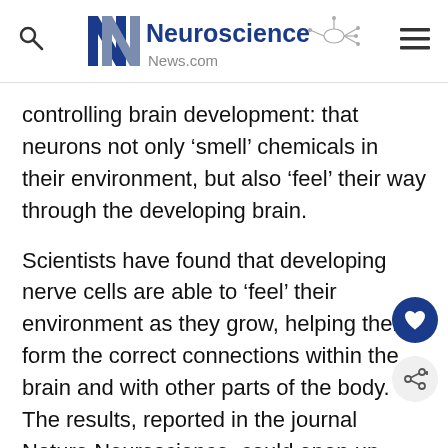Neuroscience News.com
controlling brain development: that neurons not only ‘smell’ chemicals in their environment, but also ‘feel’ their way through the developing brain.
Scientists have found that developing nerve cells are able to ‘feel’ their environment as they grow, helping them form the correct connections within the brain and with other parts of the body. The results, reported in the journal Nature Neuroscience, could open up